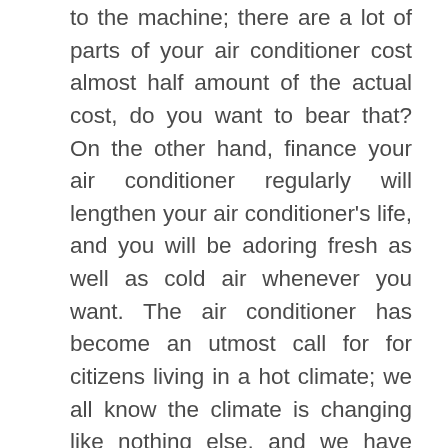to the machine; there are a lot of parts of your air conditioner cost almost half amount of the actual cost, do you want to bear that? On the other hand, finance your air conditioner regularly will lengthen your air conditioner's life, and you will be adoring fresh as well as cold air whenever you want. The air conditioner has become an utmost call for for citizens living in a hot climate; we all know the climate is changing like nothing else, and we have been suffering from exaggerated hotness over the last years; can we do anything about it? We think the dominant motive is pollution and we are not taking good care when it comes to avoiding pollution; hence, we have to deal with this hotness; however, an air conditioner is the only appliance that can bring peace during summer days!